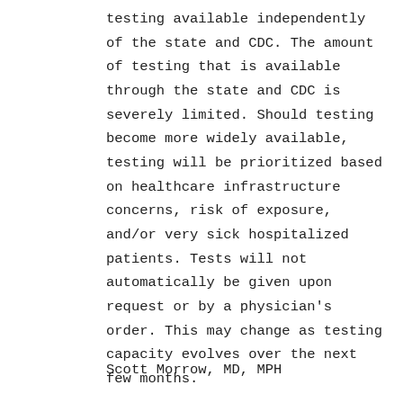testing available independently of the state and CDC. The amount of testing that is available through the state and CDC is severely limited. Should testing become more widely available, testing will be prioritized based on healthcare infrastructure concerns, risk of exposure, and/or very sick hospitalized patients. Tests will not automatically be given upon request or by a physician's order. This may change as testing capacity evolves over the next few months.
Scott Morrow, MD, MPH